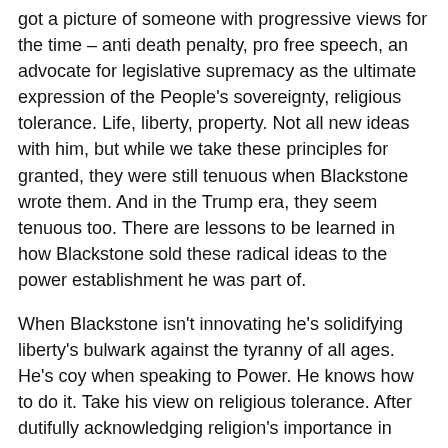got a picture of someone with progressive views for the time – anti death penalty, pro free speech, an advocate for legislative supremacy as the ultimate expression of the People's sovereignty, religious tolerance. Life, liberty, property. Not all new ideas with him, but while we take these principles for granted, they were still tenuous when Blackstone wrote them. And in the Trump era, they seem tenuous too. There are lessons to be learned in how Blackstone sold these radical ideas to the power establishment he was part of.
When Blackstone isn't innovating he's solidifying liberty's bulwark against the tyranny of all ages. He's coy when speaking to Power. He knows how to do it. Take his view on religious tolerance. After dutifully acknowledging religion's importance in society, to the point of saying apostasy is "highly deserving of human punishment" and that people who don't believe are idiots, he proceeds to argue that because they're idiots they shouldn't be punished: